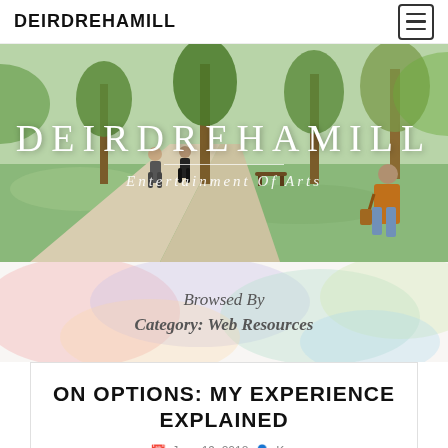DEIRDREHAMILL
[Figure (illustration): Watercolor illustration of a park scene with trees and people walking on a path, overlaid with the text DEIRDREHAMILL and subtitle Entertainment Of Arts]
Browsed By Category: Web Resources
ON OPTIONS: MY EXPERIENCE EXPLAINED
June 19, 2018  Ken